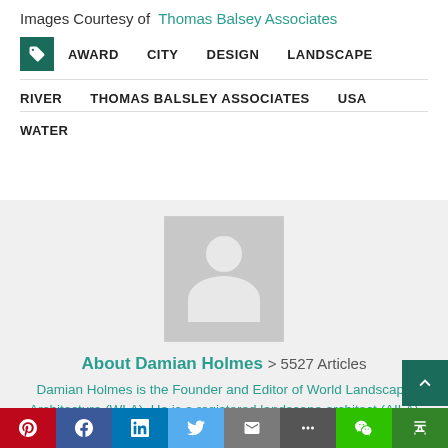Images Courtesy of  Thomas Balsey Associates
AWARD   CITY   DESIGN   LANDSCAPE
RIVER   THOMAS BALSLEY ASSOCIATES   USA
WATER
[Figure (illustration): Generic avatar placeholder — grey square with white silhouette of a person (head and shoulders)]
About Damian Holmes > 5527 Articles
Damian Holmes is the Founder and Editor of World Landscape Architecture (WLA). He is a registered landscape architect (AILA) working in international des…